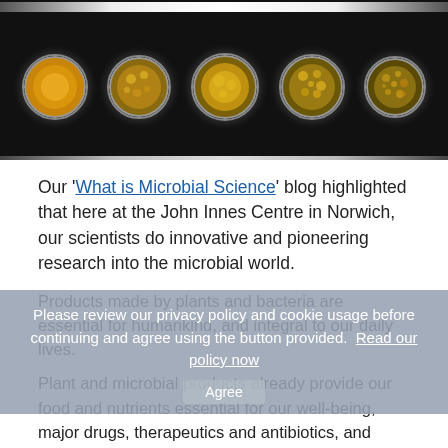[Figure (photo): Row of petri dishes with bacterial/microbial cultures displayed on a lit rack against a dark background, showing colonies at various stages of growth ranging from solid yellow to spotty patterns.]
Our 'What is Microbial Science' blog highlighted that here at the John Innes Centre in Norwich, our scientists do innovative and pioneering research into the microbial world.
Products made by plants and bacteria are essential for humankind, and integral to our daily lives.
Please review our privacy policy and cookie usage before continuing and agree using the button provided. Read our policy now
Plant and microbial products already provide our food and nutrients essential for our well-being, major drugs, therapeutics and antibiotics, and sustainable raw materials for the manufacture of a host of products including agrichemicals, personal care products, paints, plastics, lubricants, and textiles.